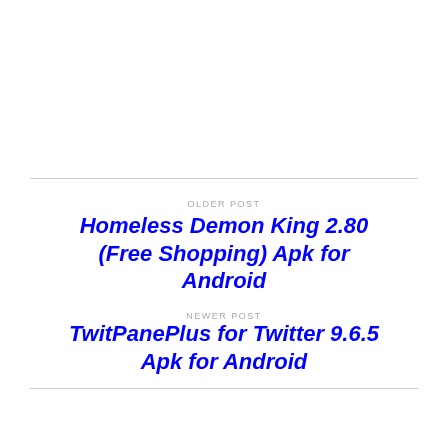OLDER POST
Homeless Demon King 2.80 (Free Shopping) Apk for Android
NEWER POST
TwitPanePlus for Twitter 9.6.5 Apk for Android